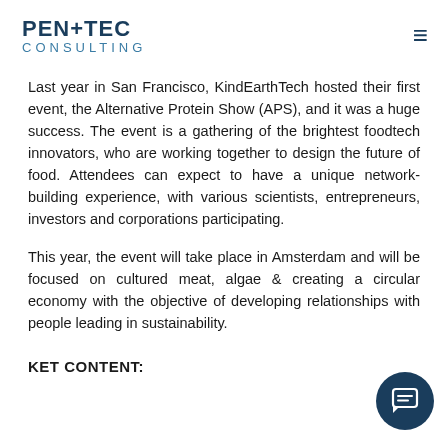PEN+TEC CONSULTING
Last year in San Francisco, KindEarthTech hosted their first event, the Alternative Protein Show (APS), and it was a huge success. The event is a gathering of the brightest foodtech innovators, who are working together to design the future of food. Attendees can expect to have a unique network-building experience, with various scientists, entrepreneurs, investors and corporations participating.
This year, the event will take place in Amsterdam and will be focused on cultured meat, algae & creating a circular economy with the objective of developing relationships with people leading in sustainability.
KET CONTENT: